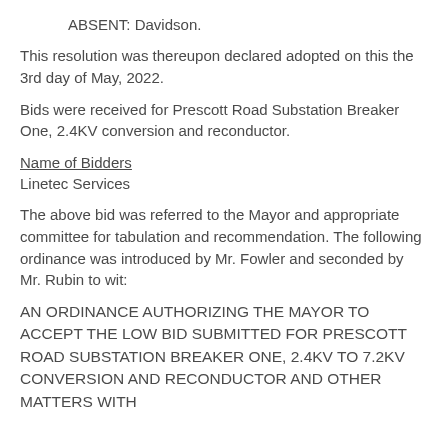ABSENT:  Davidson.
This resolution was thereupon declared adopted on this the 3rd day of May, 2022.
Bids were received for Prescott Road Substation Breaker One, 2.4KV conversion and reconductor.
Name of Bidders
Linetec Services
The above bid was referred to the Mayor and appropriate committee for tabulation and recommendation.  The following ordinance was introduced by Mr. Fowler and seconded by Mr. Rubin to wit:
AN ORDINANCE AUTHORIZING THE MAYOR TO ACCEPT THE LOW BID SUBMITTED FOR PRESCOTT ROAD SUBSTATION BREAKER ONE, 2.4KV TO 7.2KV CONVERSION AND RECONDUCTOR AND OTHER MATTERS WITH